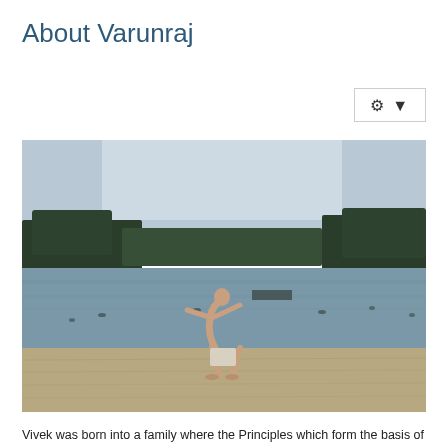About Varunraj
[Figure (photo): A person performing a backbend yoga pose on a sandy beach beside a calm lake, with trees lining the far shore under an overcast sky.]
Vivek was born into a family where the Principles which form the basis of Yoga practice were routine family traditions and where his